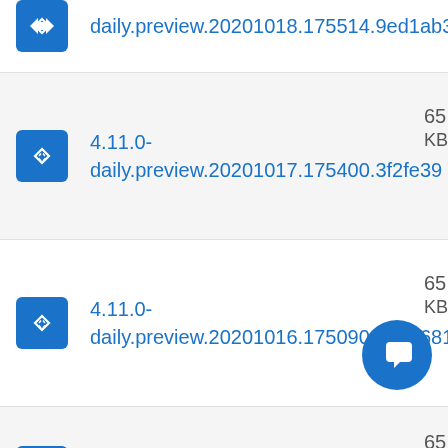4.11.0-daily.preview.20201018.175514.9ed1ab3
4.11.0-daily.preview.20201017.175400.3f2fe39
4.11.0-daily.preview.20201016.175090.8d20681
4.11.0-daily.preview.20201015.174691.3f4a07d